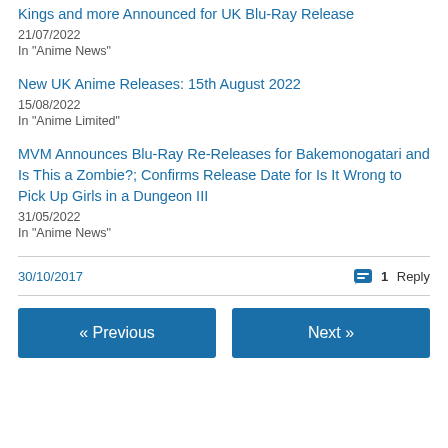Kings and more Announced for UK Blu-Ray Release
21/07/2022
In "Anime News"
New UK Anime Releases: 15th August 2022
15/08/2022
In "Anime Limited"
MVM Announces Blu-Ray Re-Releases for Bakemonogatari and Is This a Zombie?; Confirms Release Date for Is It Wrong to Pick Up Girls in a Dungeon III
31/05/2022
In "Anime News"
30/10/2017
1 Reply
« Previous
Next »